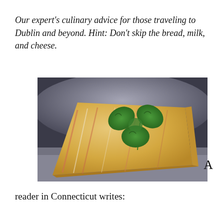Our expert's culinary advice for those traveling to Dublin and beyond. Hint: Don't skip the bread, milk, and cheese.
[Figure (photo): A wedge of orange-yellow cheese with pink-orange marbled streaks, topped with a green three-leaf clover, resting on a marble surface with a blue-grey bowl in the background.]
A reader in Connecticut writes: